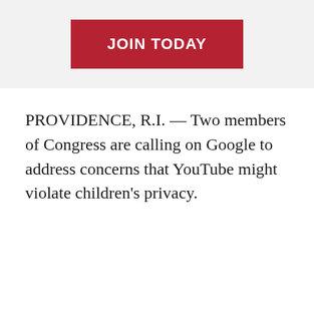[Figure (other): Red 'JOIN TODAY' button on a light grey banner background]
PROVIDENCE, R.I. — Two members of Congress are calling on Google to address concerns that YouTube might violate children’s privacy.